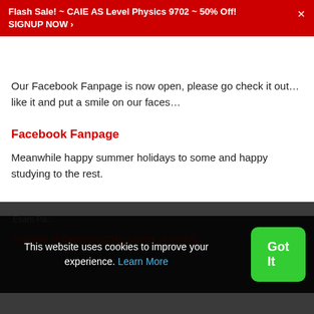Flash Sale! ~ CAIE AS Level Physics 9702 ~ 50% Off! SIGNUP NOW ›
Our Facebook Fanpage is now open, please go check it out… like it and put a smile on our faces…
Facebook Fanpage
Meanwhile happy summer holidays to some and happy studying to the rest.
Cheers!
Posted in Maths
Tagged with alevel, CIE, Edexcel, FP2, Statistics
Courses
Exam P...
Actuarial Mathematics(CM1) Course in eVideo...
This website uses cookies to improve your experience. Learn More